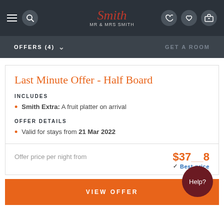Mr & Mrs Smith – navigation bar with hamburger menu, search, logo, phone, heart, and luggage icons
OFFERS (4)   GET A ROOM
Last Minute Offer - Half Board
INCLUDES
Smith Extra: A fruit platter on arrival
OFFER DETAILS
Valid for stays from 21 Mar 2022
Offer price per night from  $37.38  ✓ Best-price
VIEW OFFER